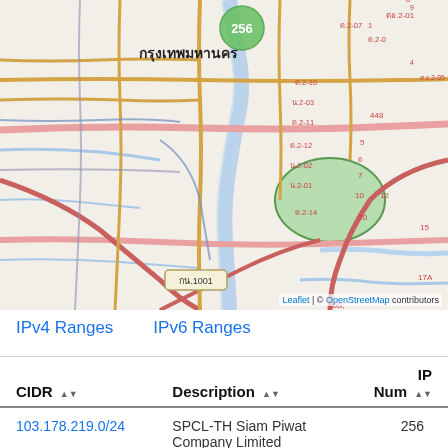[Figure (map): OpenStreetMap tile showing Bangkok (กรุงเทพมหานคร) and surrounding areas including สมุทรปราการ, พระประแดง, สำโรงเหนือ, บางเมือง. A green circle marker labeled 256 is visible near the city center. Various road numbers and Thai place names are visible.]
IPv4 Ranges   IPv6 Ranges
| CIDR | Description | IP Num |
| --- | --- | --- |
| 103.178.219.0/24 | SPCL-TH Siam Piwat Company Limited | 256 |